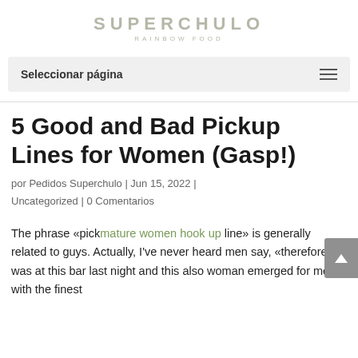SUPERCHULO RAINBOW FOOD
Seleccionar página
5 Good and Bad Pickup Lines for Women (Gasp!)
por Pedidos Superchulo | Jun 15, 2022 | Uncategorized | 0 Comentarios
The phrase «pickmature women hook up line» is generally related to guys. Actually, I've never heard men say, «therefore i was at this bar last night and this also woman emerged for me with the finest